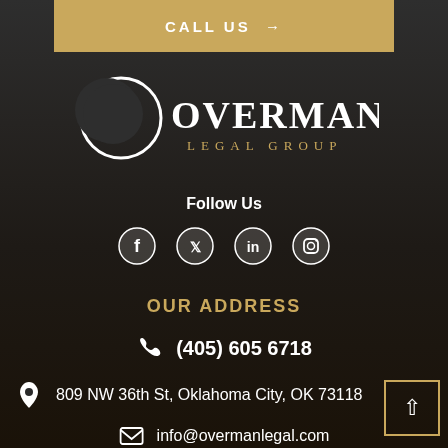CALL US →
[Figure (logo): Overman Legal Group logo: crescent moon circle icon with text OVERMAN LEGAL GROUP in white/gold on dark background]
Follow Us
[Figure (infographic): Social media icons row: Facebook, Twitter, LinkedIn, Instagram — all white circles on dark background]
OUR ADDRESS
(405) 605 6718
809 NW 36th St, Oklahoma City, OK 73118
info@overmanlegal.com